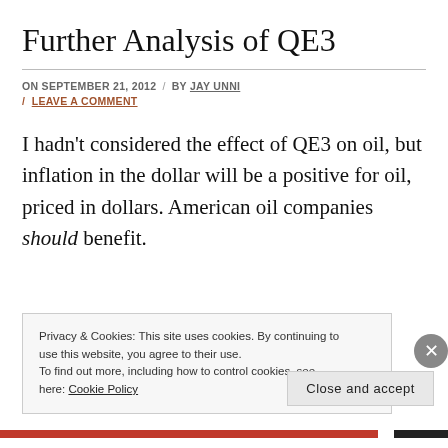Further Analysis of QE3
ON SEPTEMBER 21, 2012 / BY JAY UNNI / LEAVE A COMMENT
I hadn't considered the effect of QE3 on oil, but inflation in the dollar will be a positive for oil, priced in dollars. American oil companies should benefit.
Privacy & Cookies: This site uses cookies. By continuing to use this website, you agree to their use. To find out more, including how to control cookies, see here: Cookie Policy
Close and accept